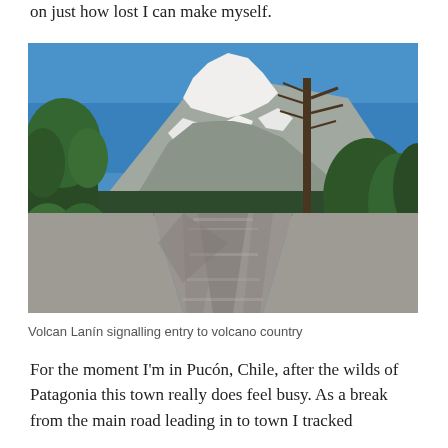on just how lost I can make myself.
[Figure (photo): A gravel road leading toward a snow-capped volcano (Volcan Lanín) surrounded by trees and green vegetation under a clear blue sky.]
Volcan Lanín signalling entry to volcano country
For the moment I'm in Pucón, Chile, after the wilds of Patagonia this town really does feel busy. As a break from the main road leading in to town I tracked